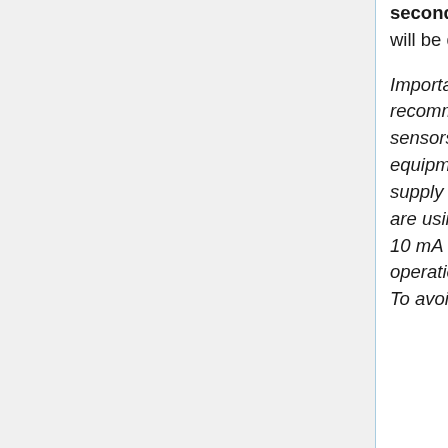seconds to indicate an AC waveform has been detected. Sleep mode will be disabled to keep a more consistent power draw on the AC circuit.
Important note regarding powering with AC: powering via AC is recommended only for standard emonTx operation without auxiliary sensors (apart from a maximum of 4 DS18B20 temperature sensors) or equipment (e.g. relay modules) connected. Correct operation via the AC supply is critically dependent upon using the correct AC-AC adapter. If you are using the recommended AC-AC adapter and the current draw exceeds 10 mA and the mains supply is below the minimum allowable, then circuit operation will be impaired, adversely affecting the accuracy of the emonTx. To avoid damage to the emonTx V3 circuits,